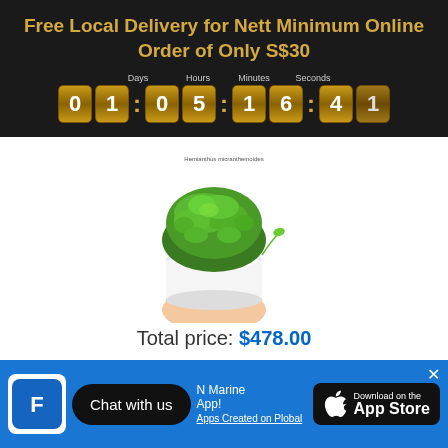Free Local Delivery for Nett Minimum Online Order of Only S$30
[Figure (infographic): Countdown timer showing 01:05:16:41 with labels Days, Hours, Minutes, Seconds on gold/yellow flip-style digit boxes against dark background]
[Figure (photo): A hand holding a white cup/pot filled with green aquatic moss plant (Hemianthus micranthemoides)]
Total price: $478.00
Add selected to cart
This item: Reef Octopus CLASSIC CALCIUM
Chat with us
N Marine App!
Apps Created on Plobal
[Figure (logo): Download on the App Store badge]